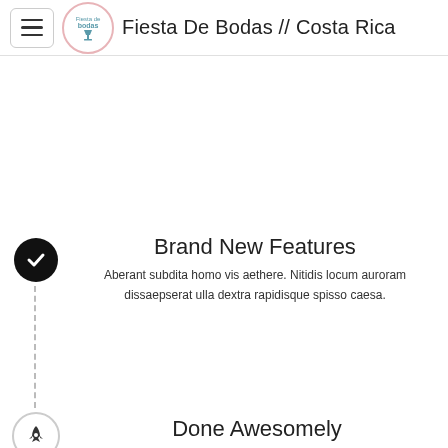Fiesta De Bodas // Costa Rica
Brand New Features
Aberant subdita homo vis aethere. Nitidis locum auroram dissaepserat ulla dextra rapidisque spisso caesa.
Done Awesomely